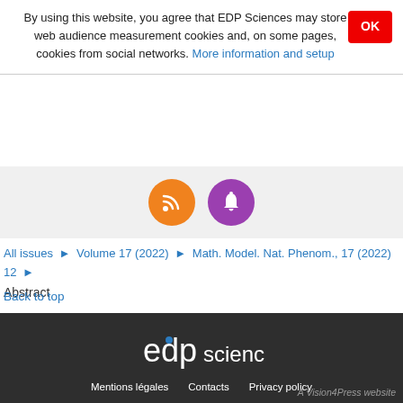By using this website, you agree that EDP Sciences may store web audience measurement cookies and, on some pages, cookies from social networks. More information and setup
[Figure (infographic): Orange RSS feed icon circle and purple notification bell icon circle on grey background]
All issues ▶ Volume 17 (2022) ▶ Math. Model. Nat. Phenom., 17 (2022) 12 ▶
Abstract
Back to top
[Figure (logo): EDP Sciences logo in white on dark background]
Mentions légales   Contacts   Privacy policy
A Vision4Press website